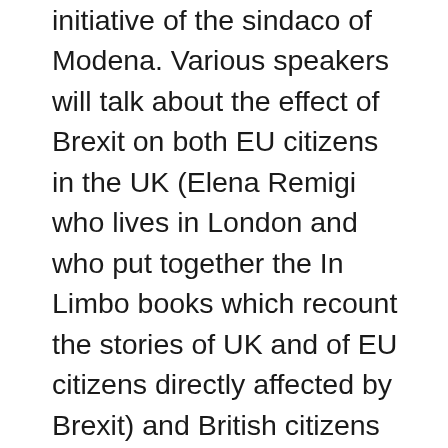initiative of the sindaco of Modena. Various speakers will talk about the effect of Brexit on both EU citizens in the UK (Elena Remigi who lives in London and who put together the In Limbo books which recount the stories of UK and of EU citizens directly affected by Brexit) and British citizens in Italy (two from British in Italy and two from Beyond Brexit). As well as the important impact of Brexit on those who have chosen to reside either in the UK or in Europe with rights protected by the Withdrawal Agreement, the speakers will look at its impact on those who in the future wish to travel, study or work either side of the Channel. What has been lost; has anything been gained? The webinar will be conducted in English and there will be time for discussion or a Q&A session for participants.